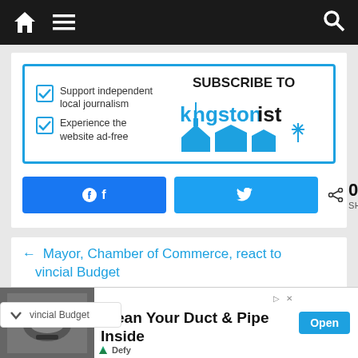[Figure (screenshot): Website navigation bar with home icon, hamburger menu, and search icon on dark background]
[Figure (infographic): Subscribe to Kingstonist banner with checkboxes for 'Support independent local journalism' and 'Experience the website ad-free', with Kingstonist logo and skyline illustration]
[Figure (infographic): Social share buttons: Facebook button, Twitter button, and share count showing 0 SHARES]
← Mayor, Chamber of Commerce, react to ...vincial Budget
[Figure (infographic): Advertisement: Clean Your Duct & Pipe Inside with Open button, image of duct cleaning brush, Defy logo]